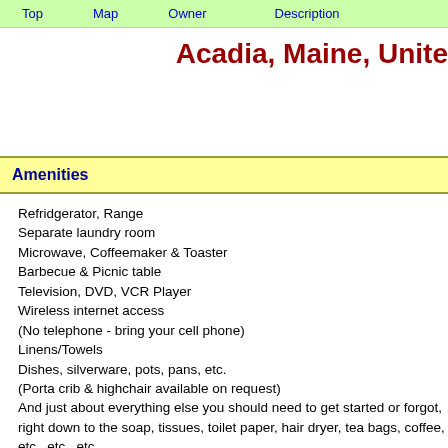Top   Map   Owner   Description
Acadia, Maine, Unite
Amenities
Refridgerator, Range
Separate laundry room
Microwave, Coffeemaker & Toaster
Barbecue & Picnic table
Television, DVD, VCR Player
Wireless internet access
(No telephone - bring your cell phone)
Linens/Towels
Dishes, silverware, pots, pans, etc.
(Porta crib & highchair available on request)
And just about everything else you should need to get started or forgot, right down to the soap, tissues, toilet paper, hair dryer, tea bags, coffee, etc., etc., etc..